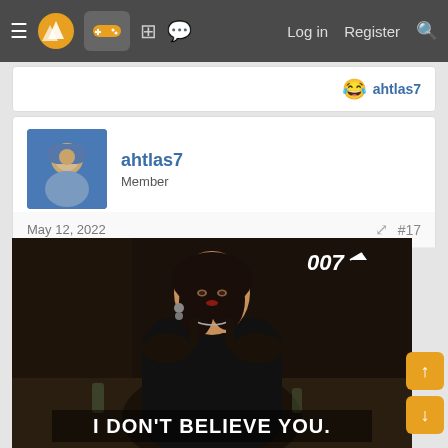Navigation bar: hamburger menu, Citra logo, gamepad button (active), grid icon, chat icon, Log in, Register, Search
😂 ahtlas7
ahtlas7
Member
May 12, 2022   #17
[Figure (photo): Movie still from a James Bond (007) film showing a woman with dark hair in a black dress sitting at a table, looking unimpressed. Text overlay at bottom reads 'I DON'T BELIEVE YOU.' in bold white letters. 007 logo visible in top right corner.]